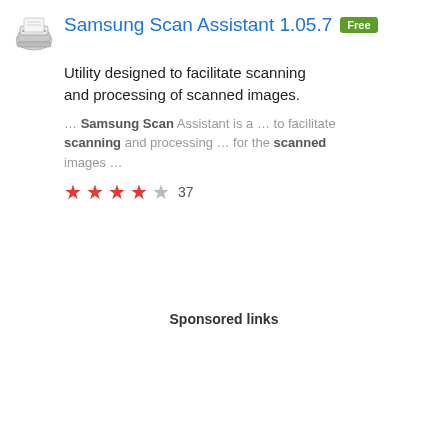Samsung Scan Assistant 1.05.7 Free
Utility designed to facilitate scanning and processing of scanned images.
… Samsung Scan Assistant is a … to facilitate scanning and processing … for the scanned images …
★★★★☆ 37
Download
Sponsored links